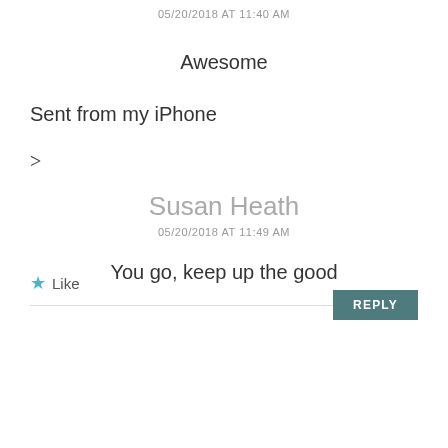05/20/2018 AT 11:40 AM
Awesome
Sent from my iPhone
>
★ Like
REPLY
Susan Heath
05/20/2018 AT 11:49 AM
You go, keep up the good